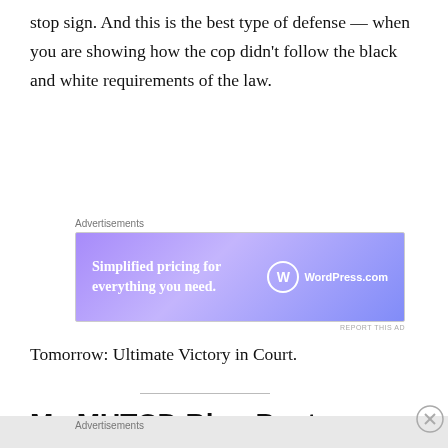stop sign. And this is the best type of defense — when you are showing how the cop didn't follow the black and white requirements of the law.
[Figure (screenshot): WordPress.com advertisement banner with gradient purple background. Text: 'Simplified pricing for everything you need.' with WordPress.com logo on the right.]
Tomorrow: Ultimate Victory in Court.
My MUTCD Blog Posts
[Figure (screenshot): DuckDuckGo advertisement banner with orange background. Text: 'Search, browse, and email with more privacy. All in One Free App' with a phone image and DuckDuckGo logo.]